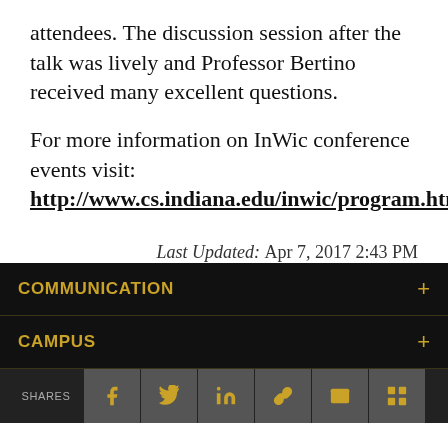attendees. The discussion session after the talk was lively and Professor Bertino received many excellent questions.
For more information on InWic conference events visit: http://www.cs.indiana.edu/inwic/program.html.
Last Updated: Apr 7, 2017 2:43 PM
COMMUNICATION +
CAMPUS +
SHARES [social icons: facebook, twitter, linkedin, link, email, slack]